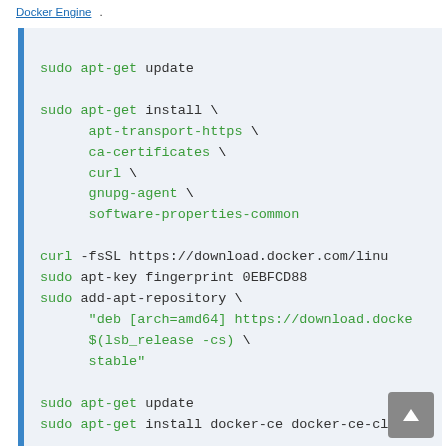Docker Engine.
[Figure (screenshot): Code block showing Docker installation commands on Linux using apt-get, curl, and add-apt-repository with a blue left border on a light blue-gray background.]